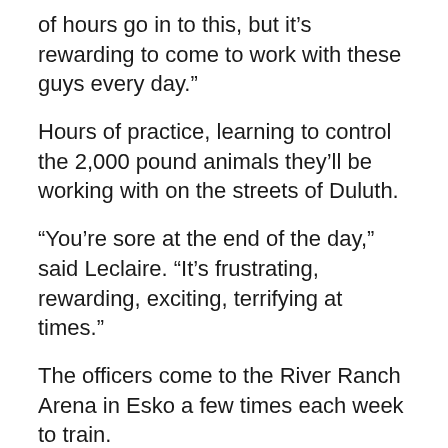of hours go in to this, but it’s rewarding to come to work with these guys every day.”
Hours of practice, learning to control the 2,000 pound animals they’ll be working with on the streets of Duluth.
“You’re sore at the end of the day,” said Leclaire. “It’s frustrating, rewarding, exciting, terrifying at times.”
The officers come to the River Ranch Arena in Esko a few times each week to train.
“It’s fun to see these guys when they started and watch them each time they train get better and better and watch their confidence build with the horses,” said Craig Lindberg, a current member